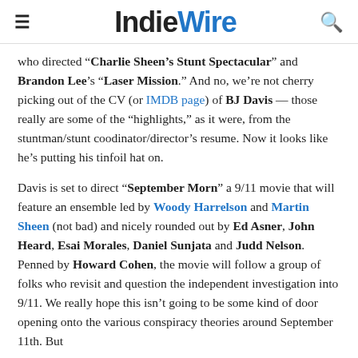IndieWire
who directed “Charlie Sheen’s Stunt Spectacular” and Brandon Lee’s “Laser Mission.” And no, we’re not cherry picking out of the CV (or IMDB page) of BJ Davis — those really are some of the “highlights,” as it were, from the stuntman/stunt coodinator/director’s resume. Now it looks like he’s putting his tinfoil hat on.
Davis is set to direct “September Morn” a 9/11 movie that will feature an ensemble led by Woody Harrelson and Martin Sheen (not bad) and nicely rounded out by Ed Asner, John Heard, Esai Morales, Daniel Sunjata and Judd Nelson. Penned by Howard Cohen, the movie will follow a group of folks who revisit and question the independent investigation into 9/11. We really hope this isn’t going to be some kind of door opening onto the various conspiracy theories around September 11th. But